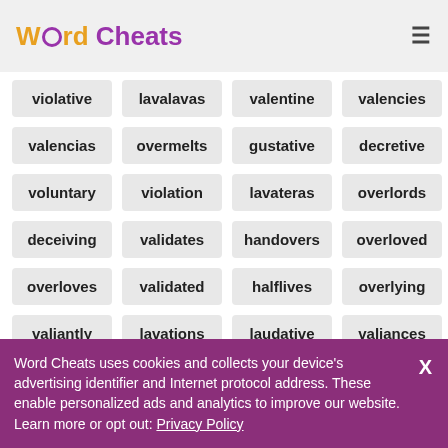Word Cheats
violative
lavalavas
valentine
valencies
valencias
overmelts
gustative
decretive
voluntary
violation
lavateras
overlords
deceiving
validates
handovers
overloved
overloves
validated
halflives
overlying
valiantly
lavations
laudative
valiances
Word Cheats uses cookies and collects your device's advertising identifier and Internet protocol address. These enable personalized ads and analytics to improve our website. Learn more or opt out: Privacy Policy